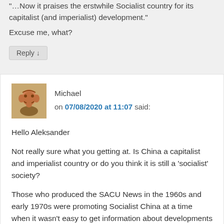“…Now it praises the erstwhile Socialist country for its capitalist (and imperialist) development.”
Excuse me, what?
Reply ↓
Michael on 07/08/2020 at 11:07 said:
Hello Aleksander
Not really sure what you getting at. Is China a capitalist and imperialist country or do you think it is still a ‘socialist’ society?
Those who produced the SACU News in the 1960s and early 1970s were promoting Socialist China at a time when it wasn’t easy to get information about developments in the country. By continuing to support ‘socialist’ China after the